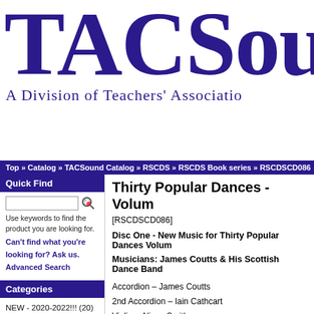TACSou
A Division of Teachers' Associatio
Top » Catalog » TACSound Catalog » RSCDS » RSCDS Book series » RSCDSCD086
Quick Find
Use keywords to find the product you are looking for. Can't find what you're looking for? Ask us. Advanced Search
Categories
NEW - 2020-2022!!! (20)
New Lower Prices (26)
Sample Some CDs (28)
Recent Releases-> (19)
Thirty Popular Dances - Volum
[RSCDSCD086]
Disc One - New Music for Thirty Popular Dances Volum
Musicians: James Coutts & His Scottish Dance Band
Accordion – James Coutts
2nd Accordion – Iain Cathcart
Violin – Alison Smith
Piano – Graham Berry
Bass - Brian Cruickshank
Drums – Ian Adamson